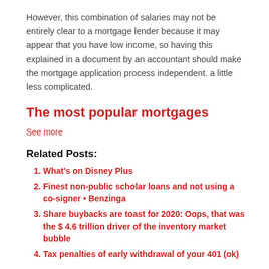However, this combination of salaries may not be entirely clear to a mortgage lender because it may appear that you have low income, so having this explained in a document by an accountant should make the mortgage application process independent. a little less complicated.
The most popular mortgages
See more
Related Posts:
What's on Disney Plus
Finest non-public scholar loans and not using a co-signer • Benzinga
Share buybacks are toast for 2020: Oops, that was the $ 4.6 trillion driver of the inventory market bubble
Tax penalties of early withdrawal of your 401 (ok)